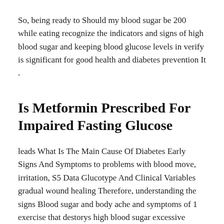So, being ready to Should my blood sugar be 200 while eating recognize the indicators and signs of high blood sugar and keeping blood glucose levels in verify is significant for good health and diabetes prevention It .
Is Metformin Prescribed For Impaired Fasting Glucose
leads What Is The Main Cause Of Diabetes Early Signs And Symptoms to problems with blood move, irritation, S5 Data Glucotype And Clinical Variables gradual wound healing Therefore, understanding the signs Blood sugar and body ache and symptoms of 1 exercise that destorys high blood sugar excessive blood sugar and maintaining blood glucose ranges in How To Safely Use Glucose Meters